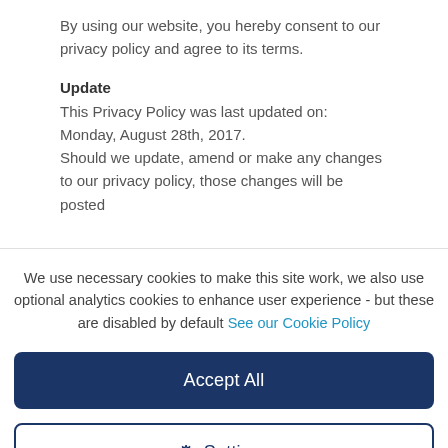By using our website, you hereby consent to our privacy policy and agree to its terms.
Update
This Privacy Policy was last updated on: Monday, August 28th, 2017.
Should we update, amend or make any changes to our privacy policy, those changes will be posted
We use necessary cookies to make this site work, we also use optional analytics cookies to enhance user experience - but these are disabled by default See our Cookie Policy